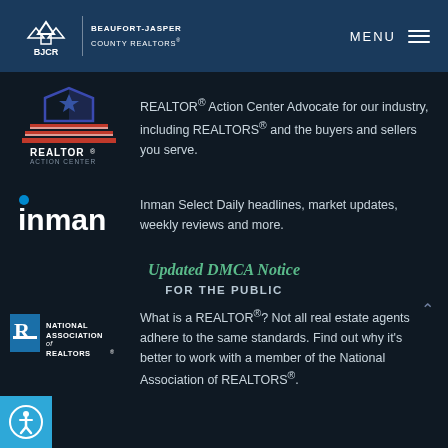BJCR BEAUFORT-JASPER COUNTY REALTORS® MENU
[Figure (logo): REALTOR Action Center logo with house and flag design]
REALTOR® Action Center Advocate for our industry, including REALTORS® and the buyers and sellers you serve.
[Figure (logo): Inman logo - white text on dark background]
Inman Select Daily headlines, market updates, weekly reviews and more.
Updated DMCA Notice
FOR THE PUBLIC
[Figure (logo): National Association of REALTORS® logo]
What is a REALTOR®? Not all real estate agents adhere to the same standards. Find out why it's better to work with a member of the National Association of REALTORS®.